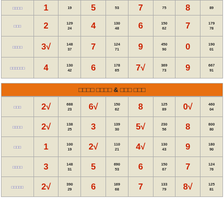| Label | Num | Small | Num2 | Small2 | Num3 | Small3 | Num4 | Small4 |
| --- | --- | --- | --- | --- | --- | --- | --- | --- |
| □□□□ | 1 | 19 | 5 | 53 | 7 | 75 | 8 | 89 |
| □□□ | 2 | 129/24 | 4 | 130/48 | 6 | 150/62 | 7 | 179/78 |
| □□□□ | 3√ | 148/37 | 7 | 124/71 | 9 | 450/90 | 0 | 190/01 |
| □□□□□□ | 4 | 130/42 | 6 | 178/65 | 7√ | 369/73 | 9 | 667/91 |
□□□□ □□□□ & □□□ □□□
| Label | Num | Small | Num2 | Small2 | Num3 | Small3 | Num4 | Small4 |
| --- | --- | --- | --- | --- | --- | --- | --- | --- |
| □□□ | 2√ | 688/23 | 6√ | 150/62 | 8 | 125/89 | 0√ | 460/04 |
| □□□□ | 2√ | 138/25 | 3 | 139/30 | 5√ | 230/56 | 8 | 800/80 |
| □□□ | 1 | 100/19 | 2√ | 110/21 | 4√ | 130/43 | 9 | 180/90 |
| □□□□ | 3 | 148/31 | 5 | 690/53 | 6 | 150/67 | 7 | 124/76 |
| □□□□□ | 2√ | 390/29 | 6 | 169/68 | 7 | 133/79 | 8√ | 125/81 |